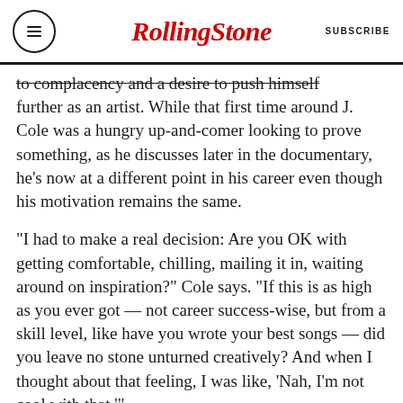Rolling Stone | SUBSCRIBE
to complacency and a desire to push himself further as an artist. While that first time around J. Cole was a hungry up-and-comer looking to prove something, as he discusses later in the documentary, he’s now at a different point in his career even though his motivation remains the same.
“I had to make a real decision: Are you OK with getting comfortable, chilling, mailing it in, waiting around on inspiration?” Cole says. “If this is as high as you ever got — not career success-wise, but from a skill level, like have you wrote your best songs — did you leave no stone unturned creatively? And when I thought about that feeling, I was like, ‘Nah, I’m not cool with that.’”